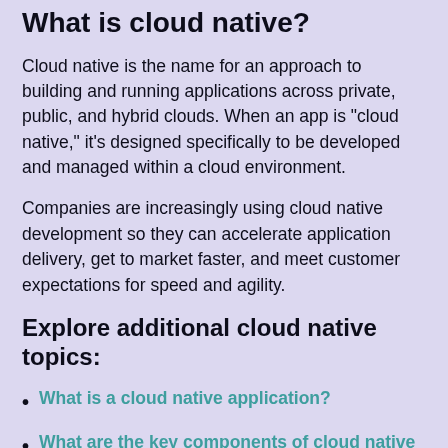What is cloud native?
Cloud native is the name for an approach to building and running applications across private, public, and hybrid clouds. When an app is "cloud native," it's designed specifically to be developed and managed within a cloud environment.
Companies are increasingly using cloud native development so they can accelerate application delivery, get to market faster, and meet customer expectations for speed and agility.
Explore additional cloud native topics:
What is a cloud native application?
What are the key components of cloud native development?
What are the biggest benefits of cloud native